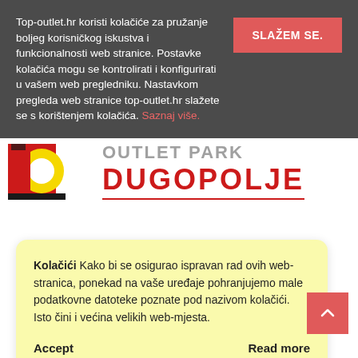Top-outlet.hr koristi kolačiće za pružanje boljeg korisničkog iskustva i funkcionalnosti web stranice. Postavke kolačića mogu se kontrolirati i konfigurirati u vašem web pregledniku. Nastavkom pregleda web stranice top-outlet.hr slažete se s korištenjem kolačića. Saznaj više.
[Figure (logo): Top Outlet Park Dugopolje logo with red and yellow circular graphic and red text]
Kolačići Kako bi se osigurao ispravan rad ovih web-stranica, ponekad na vaše uređaje pohranjujemo male podatkovne datoteke poznate pod nazivom kolačići. Isto čini i većina velikih web-mjesta.
Accept
Read more
Change Settings